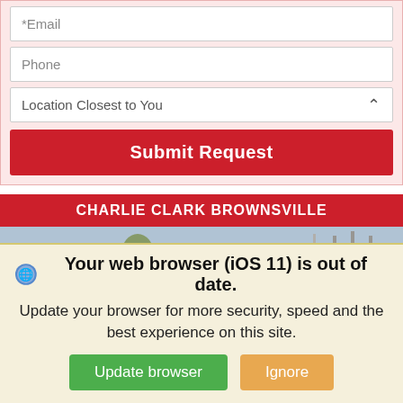[Figure (screenshot): Web form with Email and Phone fields, a Location Closest to You dropdown, and a Submit Request button on a light pink background]
CHARLIE CLARK BROWNSVILLE
[Figure (photo): Photo of a black Nissan Altima sedan parked at a car dealership lot with palm trees and other vehicles in the background]
Your web browser (iOS 11) is out of date. Update your browser for more security, speed and the best experience on this site.
[Figure (screenshot): Browser update notification banner with Update browser and Ignore buttons]